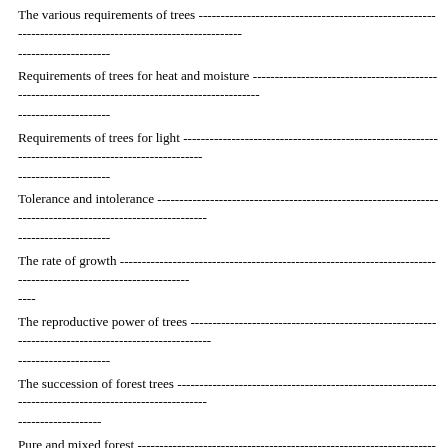The various requirements of trees ---------------------------------------------------------------------------------
Requirements of trees for heat and moisture ---------------------------------------------------------------------------------
Requirements of trees for light ---------------------------------------------------------------------------------
Tolerance and intolerance ---------------------------------------------------------------------------------
The rate of growth ---------------------------------------------------------------------------------
The reproductive power of trees ---------------------------------------------------------------------------------
The succession of forest trees ---------------------------------------------------------------------------------
Pure and mixed forest ---------------------------------------------------------------------------------
Reproduction by sprouts ---------------------------------------------------------------------------------
CHAPTER III. -- THE LIFE OF A FOREST ---------------------------------------------------------------------------------